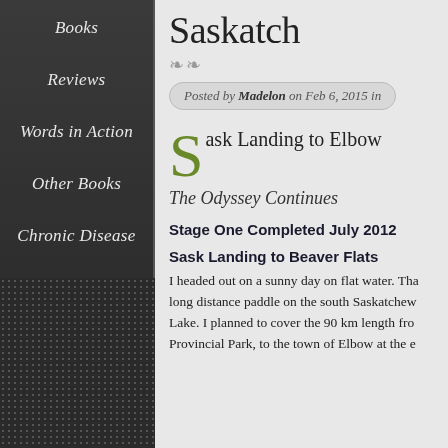Books
Reviews
Words in Action
Other Books
Chronic Disease
Kayaking Kicks
Saskatch
Posted by Madelon on Feb 6, 2015 in
S ask Landing to Elbow
The Odyssey Continues
Stage One Completed July 2012
Sask Landing to Beaver Flats
I headed out on a sunny day on flat water. Tha long distance paddle on the south Saskatchew Lake. I planned to cover the 90 km length fro Provincial Park, to the town of Elbow at the e